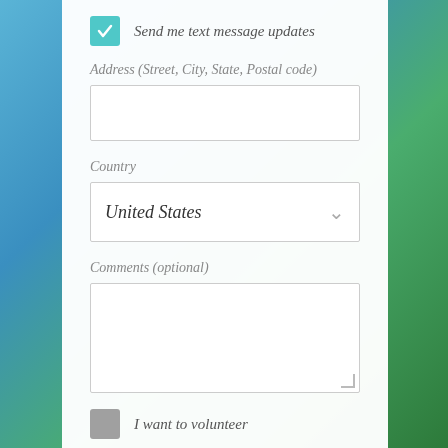Send me text message updates
Address (Street, City, State, Postal code)
Country
United States
Comments (optional)
I want to volunteer
ADD SIGNATURE